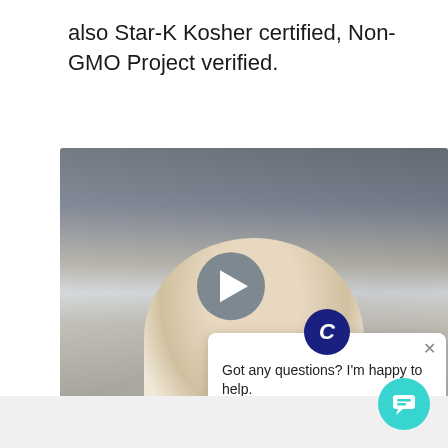also Star-K Kosher certified, Non-GMO Project verified.
[Figure (screenshot): Video thumbnail showing an older man in a white lab coat in a laboratory setting. A semi-transparent circular play button is overlaid in the center. A chat popup overlay shows a 'C' icon and the message 'Got any questions? I'm happy to help.' with a close (X) button.]